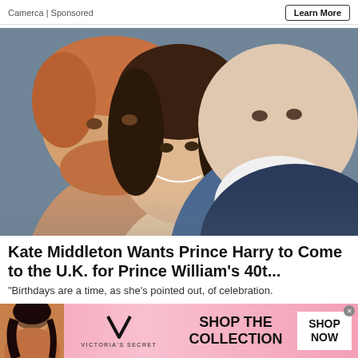Camerca | Sponsored
Learn More
[Figure (photo): Three people close together: Prince Harry on the left with reddish-brown beard, Kate Middleton in the center with dark hair and smiling, Prince William on the right in a dark suit.]
Kate Middleton Wants Prince Harry to Come to the U.K. for Prince William's 40t...
“Birthdays are a time, as she’s pointed out, of celebration.
[Figure (infographic): Victoria's Secret advertisement banner with pink background, model on left, VS logo, 'SHOP THE COLLECTION' text, and 'SHOP NOW' white button.]